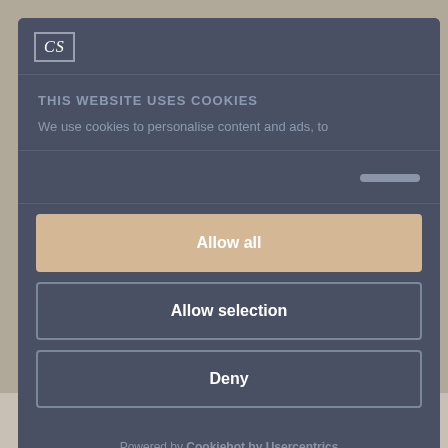[Figure (screenshot): Background website showing navigation with COLOURS and PATTERNS text]
[Figure (screenshot): Cookie consent modal dialog with dark blue-grey background]
THIS WEBSITE USES COOKIES
We use cookies to personalise content and ads, to
Allow all
Allow selection
Deny
Powered by Cookiebot by Usercentrics